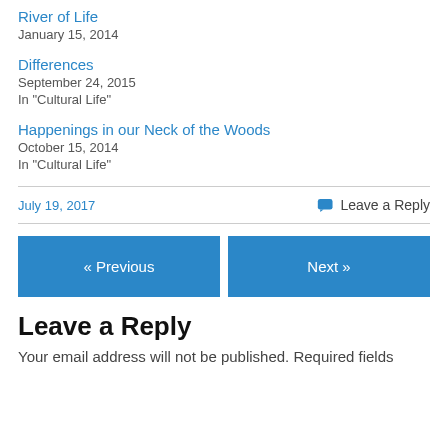River of Life
January 15, 2014
Differences
September 24, 2015
In "Cultural Life"
Happenings in our Neck of the Woods
October 15, 2014
In "Cultural Life"
July 19, 2017
Leave a Reply
« Previous
Next »
Leave a Reply
Your email address will not be published. Required fields